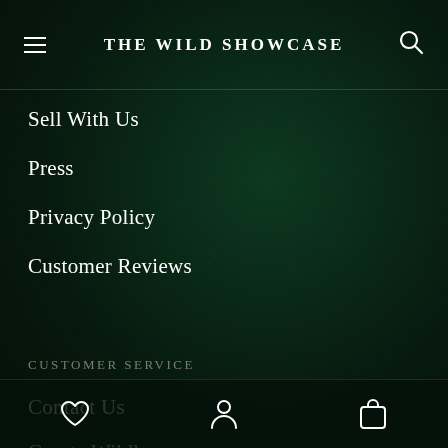THE WILD SHOWCASE
Sell With Us
Press
Privacy Policy
Customer Reviews
CUSTOMER SERVICE
Contact Us
Curate Wildly
Returns & Exchanges